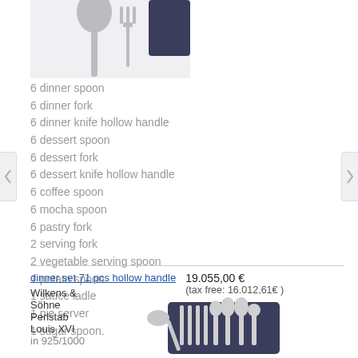[Figure (photo): Cutlery items (spoon and fork) shown partially at top of page against light background]
6 dinner spoon
6 dinner fork
6 dinner knife hollow handle
6 dessert spoon
6 dessert fork
6 dessert knife hollow handle
6 coffee spoon
6 mocha spoon
6 pastry fork
2 serving fork
2 vegetable serving spoon
1 potato spoon
1 sauce ladle
1 pie server
1 sugar spoon.
dinner set 71 pcs hollow handle
19.055,00 €
(tax free: 16.012,61€ )
Wilkens & Söhne Perlstab Louis XVI in 925/1000
[Figure (photo): Wilkens & Söhne Perlstab Louis XVI dinner set in navy blue box showing cutlery pieces arranged upright]